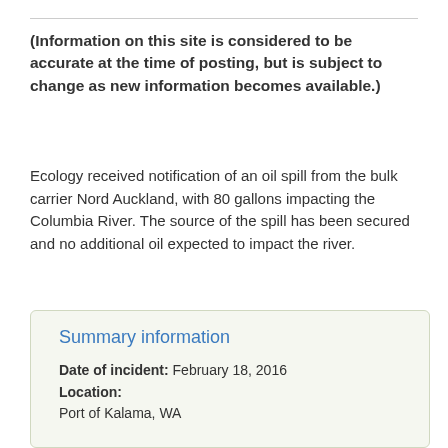(Information on this site is considered to be accurate at the time of posting, but is subject to change as new information becomes available.)
Ecology received notification of an oil spill from the bulk carrier Nord Auckland, with 80 gallons impacting the Columbia River. The source of the spill has been secured and no additional oil expected to impact the river.
Summary information
Date of incident: February 18, 2016
Location:
Port of Kalama, WA